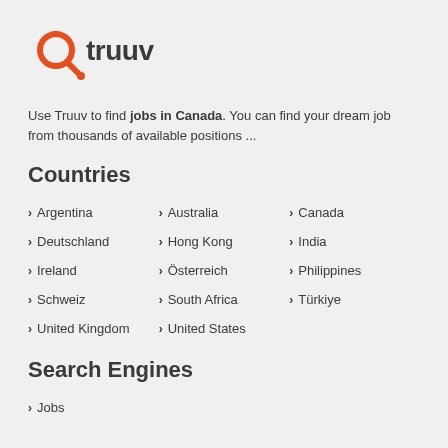[Figure (logo): Truuv logo with orange magnifying glass icon and dark grey wordmark 'truuv']
Use Truuv to find jobs in Canada. You can find your dream job from thousands of available positions ...
Countries
Argentina
Australia
Canada
Deutschland
Hong Kong
India
Ireland
Österreich
Philippines
Schweiz
South Africa
Türkiye
United Kingdom
United States
Search Engines
Jobs